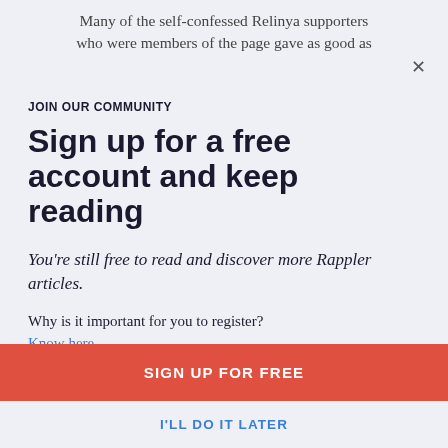Many of the self-confessed Relinya supporters who were members of the page gave as good as
JOIN OUR COMMUNITY
Sign up for a free account and keep reading
You're still free to read and discover more Rappler articles.
Why is it important for you to register?
Know here.
SIGN UP FOR FREE
I'LL DO IT LATER